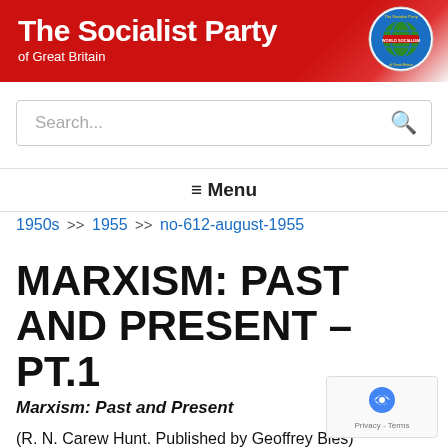[Figure (logo): The Socialist Party of Great Britain website header banner with red background, white bold text reading 'The Socialist Party of Great Britain', and a circular World Socialism logo on the right.]
Search...
≡ Menu
1950s >> 1955 >> no-612-august-1955
MARXISM: PAST AND PRESENT – PT.1
Marxism: Past and Present
(R. N. Carew Hunt. Published by Geoffrey Bles)